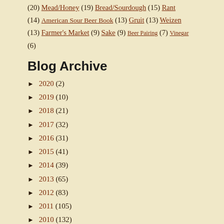(20) Mead/Honey (19) Bread/Sourdough (15) Rant (14) American Sour Beer Book (13) Gruit (13) Weizen (13) Farmer's Market (9) Sake (9) Beer Pairing (7) Vinegar (6)
Blog Archive
► 2020 (2)
► 2019 (10)
► 2018 (21)
► 2017 (32)
► 2016 (31)
► 2015 (41)
► 2014 (39)
► 2013 (65)
► 2012 (83)
► 2011 (105)
► 2010 (132)
► 2009 (103)
► 2008 (85)
▼ 2007 (71)
► December (7)
► November (5)
► October (8)
► September (4)
▼ August (6)